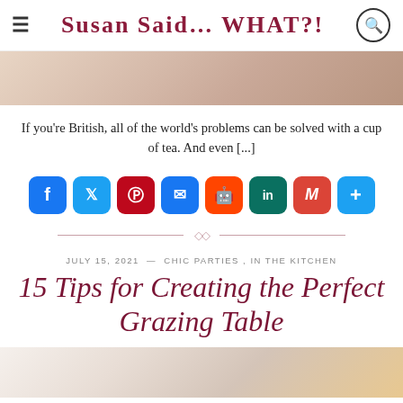Susan Said... WHAT?!
[Figure (photo): Cropped top portion of a lifestyle/food photo with warm tones]
If you're British, all of the world's problems can be solved with a cup of tea. And even [...]
[Figure (infographic): Social media share buttons: Facebook, Twitter, Pinterest, Email, Reddit, LinkedIn, Gmail, More]
JULY 15, 2021 — CHIC PARTIES, IN THE KITCHEN
15 Tips for Creating the Perfect Grazing Table
[Figure (photo): Cropped bottom photo showing a person with food items including an orange, lifestyle/party setting]